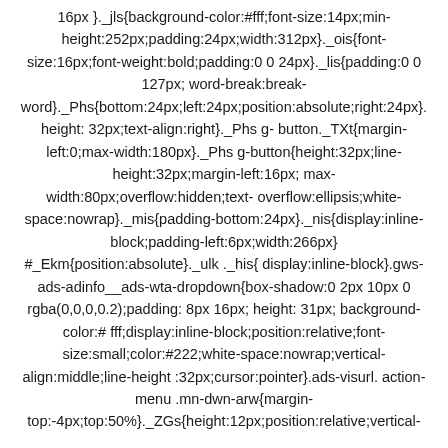16px }._jls{background-color:#fff;font-size:14px;min-height:252px;padding:24px;width:312px}._ois{font-size:16px;font-weight:bold;padding:0 0 24px}._lis{padding:0 0 127px; word-break:break-word}._Phs{bottom:24px;left:24px;position:absolute;right:24px}. height: 32px;text-align:right}._Phs g- button._TXt{margin-left:0;max-width:180px}._Phs g-button{height:32px;line-height:32px;margin-left:16px; max-width:80px;overflow:hidden;text- overflow:ellipsis;white-space:nowrap}._mis{padding-bottom:24px}._nis{display:inline-block;padding-left:6px;width:266px} #_Ekm{position:absolute}._ulk ._his{ display:inline-block}.gws-ads-adinfo__ads-wta-dropdown{box-shadow:0 2px 10px 0 rgba(0,0,0,0.2);padding: 8px 16px; height: 31px; background-color:# fff;display:inline-block;position:relative;font-size:small;color:#222;white-space:nowrap;vertical-align:middle;line-height :32px;cursor:pointer}.ads-visurl. action-menu .mn-dwn-arw{margin-top:-4px;top:50%}._ZGs{height:12px;position:relative;vertical-